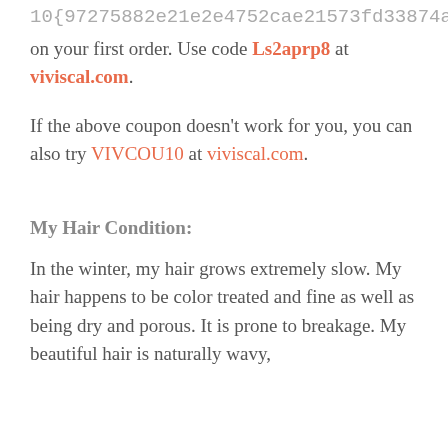10{97275882e21e2e4752cae21573fd33874ab on your first order. Use code Ls2aprp8 at viviscal.com.
If the above coupon doesn't work for you, you can also try VIVCOU10 at viviscal.com.
My Hair Condition:
In the winter, my hair grows extremely slow. My hair happens to be color treated and fine as well as being dry and porous. It is prone to breakage. My beautiful hair is naturally wavy,